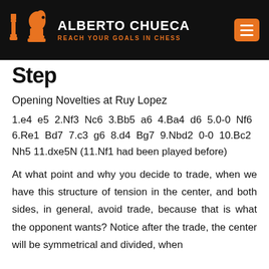ALBERTO CHUECA - REACH YOUR GOALS IN CHESS
Step
Opening Novelties at Ruy Lopez
1.e4 e5 2.Nf3 Nc6 3.Bb5 a6 4.Ba4 d6 5.0-0 Nf6 6.Re1 Bd7 7.c3 g6 8.d4 Bg7 9.Nbd2 0-0 10.Bc2 Nh5 11.dxe5N (11.Nf1 had been played before)
At what point and why you decide to trade, when we have this structure of tension in the center, and both sides, in general, avoid trade, because that is what the opponent wants? Notice after the trade, the center will be symmetrical and divided, when